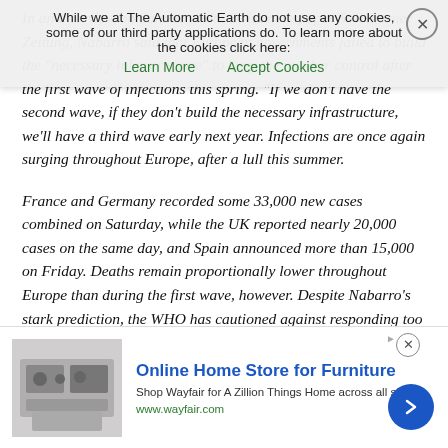In an interview on Saturday with Swiss newspaper Solothurner Zeitung, Nabarro said that European governments failed to build the 'necessary infrastructure' to keep the number control after the first wave of infections this spring. 'If we don't have the second wave, if they don't build the necessary infrastructure, we'll have a third wave early next year. Infections are once again surging throughout Europe, after a lull this summer.
France and Germany recorded some 33,000 new cases combined on Saturday, while the UK reported nearly 20,000 cases on the same day, and Spain announced more than 15,000 on Friday. Deaths remain proportionally lower throughout Europe than during the first wave, however. Despite Nabarro's stark prediction, the WHO has cautioned against responding too heavy-handedly to the pandemic. In a briefing on Thursday, the organization's European director, Hans Kluge, called for "systematic and general mask-wearing" and "strict controls on social gatherings," but described national lockdowns as a
[Figure (screenshot): Cookie consent banner overlay reading: 'While we at The Automatic Earth do not use any cookies, some of our third party applications do. To learn more about the cookies click here: [Learn More] [Accept Cookies]' with a close (X) button.]
[Figure (screenshot): Bottom advertisement banner for Wayfair: 'Online Home Store for Furniture. Shop Wayfair for A Zillion Things Home across all styles. www.wayfair.com' with furniture image and blue arrow button.]